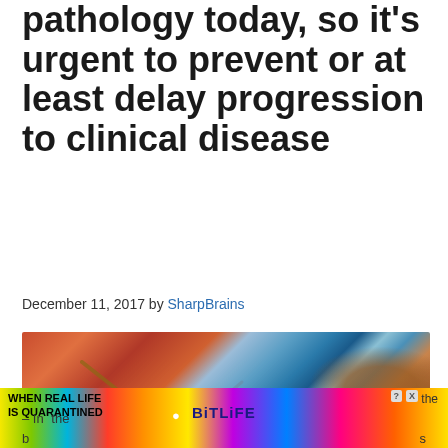pathology today, so it's urgent to prevent or at least delay progression to clinical disease
December 11, 2017 by SharpBrains
[Figure (photo): Colorized scientific illustration of neurons with amyloid plaques, showing blue neuron cells with branching dendrites against a reddish-brown background with golden-brown plaque deposits]
[Figure (other): Advertisement banner: rainbow-colored background with text 'WHEN REAL LIFE IS QUARANTINED' on the left and 'BitLife' logo in dark blue on the right, with emoji icons]
– In the b s